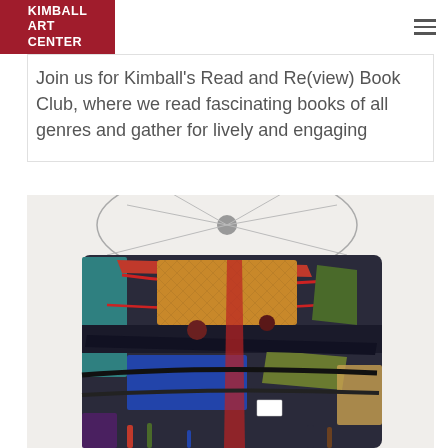KIMBALL ART CENTER
Join us for Kimball's Read and Re(view) Book Club, where we read fascinating books of all genres and gather for lively and engaging
[Figure (photo): A densely wrapped sculpture or art installation made from colorful fabrics, straps, cords and textiles bundled tightly together, with a bicycle wheel visible at the top. Colors include red, black, blue, green, teal, orange, and beige.]